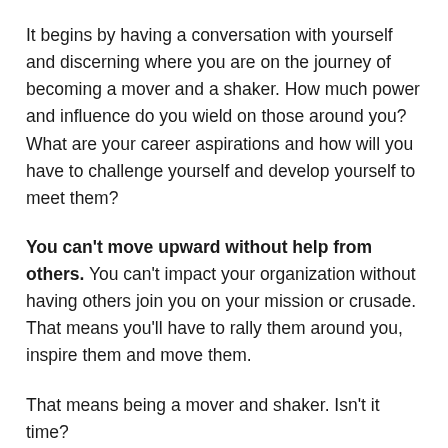It begins by having a conversation with yourself and discerning where you are on the journey of becoming a mover and a shaker. How much power and influence do you wield on those around you? What are your career aspirations and how will you have to challenge yourself and develop yourself to meet them?
You can't move upward without help from others. You can't impact your organization without having others join you on your mission or crusade. That means you'll have to rally them around you, inspire them and move them.
That means being a mover and shaker. Isn't it time?